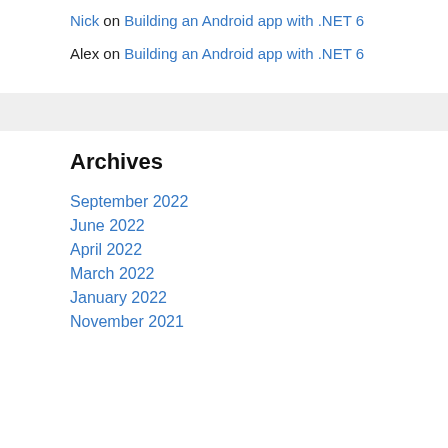Nick on Building an Android app with .NET 6
Alex on Building an Android app with .NET 6
Archives
September 2022
June 2022
April 2022
March 2022
January 2022
November 2021